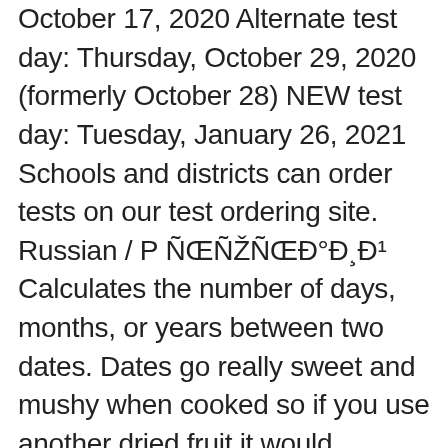October 17, 2020 Alternate test day: Thursday, October 29, 2020 (formerly October 28) NEW test day: Tuesday, January 26, 2021 Schools and districts can order tests on our test ordering site. Russian / Р ÑŒÑŽÑŒÐ°Ð¸Ð¹ Calculates the number of days, months, or years between two dates. Dates go really sweet and mushy when cooked so if you use another dried fruit it would probably be a good idea to give them a quick soak in water first, so they replicate the dates whist baking. e.g. De très nombreux exemples de phrases traduites contenant "alternative date and time" â›› Dictionnaire anglais-français et moteur de recherche de traductions anglaises. Filter by license to discover only free or Open Source alternatives. Dates and times for Alternative Dispute Resolution (LAWS70018) CalendR 4.9 0.0 L5 ExpressiveDate VS CalendR Explore 25+ websites and apps like timeanddate.com, all suggested and ranked by the AlternativeTo user community. Schedule